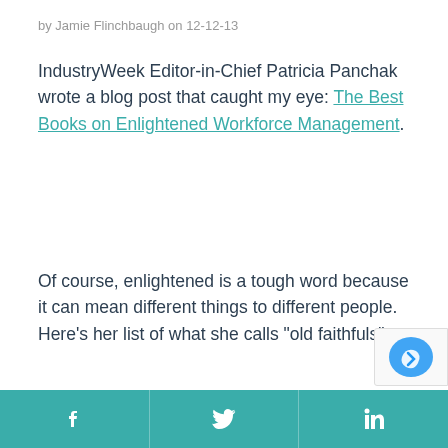by Jamie Flinchbaugh on 12-12-13
IndustryWeek Editor-in-Chief Patricia Panchak wrote a blog post that caught my eye: The Best Books on Enlightened Workforce Management.
Of course, enlightened is a tough word because it can mean different things to different people. Here's her list of what she calls "old faithfuls".
f  [twitter bird]  in